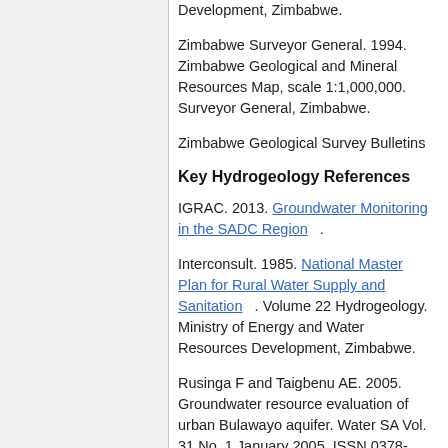Development, Zimbabwe.
Zimbabwe Surveyor General. 1994. Zimbabwe Geological and Mineral Resources Map, scale 1:1,000,000. Surveyor General, Zimbabwe.
Zimbabwe Geological Survey Bulletins
Key Hydrogeology References
IGRAC. 2013. Groundwater Monitoring in the SADC Region .
Interconsult. 1985. National Master Plan for Rural Water Supply and Sanitation . Volume 22 Hydrogeology. Ministry of Energy and Water Resources Development, Zimbabwe.
Rusinga F and Taigbenu AE. 2005. Groundwater resource evaluation of urban Bulawayo aquifer. Water SA Vol. 31 No. 1 January 2005. ISSN 0378-